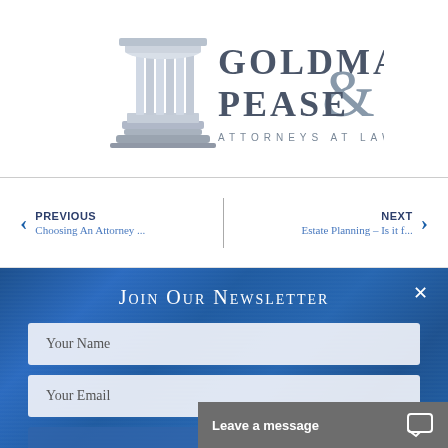[Figure (logo): Goldman & Pease Attorneys at Law logo with Greek column and ampersand]
< PREVIOUS
Choosing An Attorney ...
| NEXT >
Estate Planning – Is it f...
Join Our Newsletter
Your Name
Your Email
Send
Leave a message